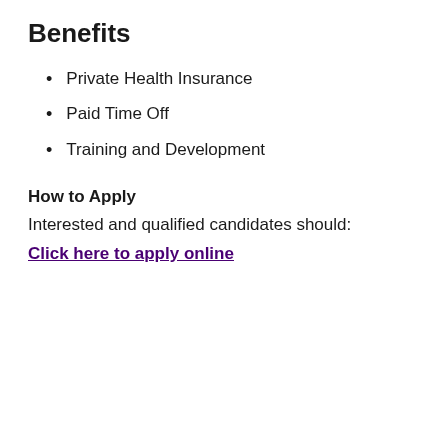Benefits
Private Health Insurance
Paid Time Off
Training and Development
How to Apply
Interested and qualified candidates should:
Click here to apply online